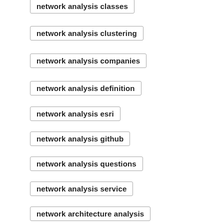network analysis classes
network analysis clustering
network analysis companies
network analysis definition
network analysis esri
network analysis github
network analysis questions
network analysis service
network architecture analysis
network component analysis
network connection analysis
network design analysis
network threat analysis
organizational network analysis